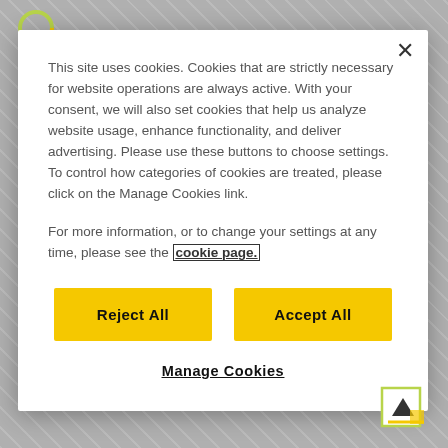[Figure (logo): Partial logo circle top left of page background]
This site uses cookies. Cookies that are strictly necessary for website operations are always active. With your consent, we will also set cookies that help us analyze website usage, enhance functionality, and deliver advertising. Please use these buttons to choose settings. To control how categories of cookies are treated, please click on the Manage Cookies link.
For more information, or to change your settings at any time, please see the cookie page.
Reject All
Accept All
Manage Cookies
[Figure (logo): Scroll-to-top icon with arrow in bottom right corner]